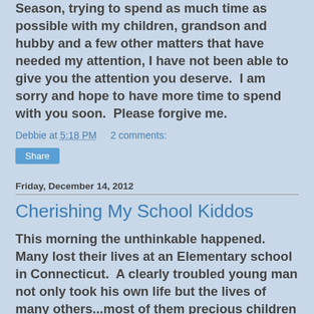Season, trying to spend as much time as possible with my children, grandson and hubby and a few other matters that have needed my attention, I have not been able to give you the attention you deserve.  I am sorry and hope to have more time to spend with you soon.  Please forgive me.
Debbie at 5:18 PM    2 comments:
Share
Friday, December 14, 2012
Cherishing My School Kiddos
This morning the unthinkable happened.  Many lost their lives at an Elementary school in Connecticut.  A clearly troubled young man not only took his own life but the lives of many others...most of them precious children ranging